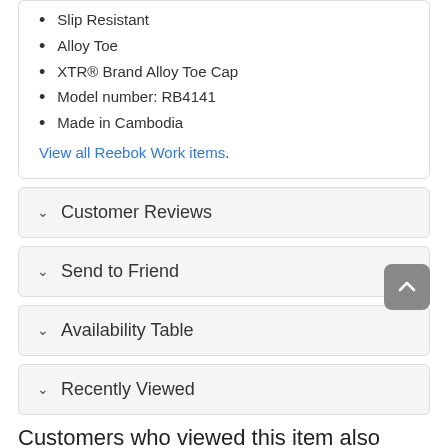Slip Resistant
Alloy Toe
XTR® Brand Alloy Toe Cap
Model number: RB4141
Made in Cambodia
View all Reebok Work items.
Customer Reviews
Send to Friend
Availability Table
Recently Viewed
Customers who viewed this item also viewed:
[Figure (photo): Three black work boots/shoes shown at the bottom of the page]